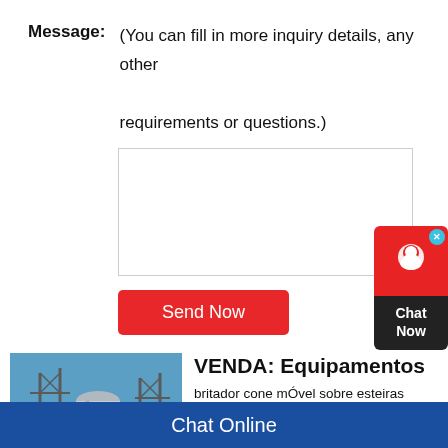Message: (You can fill in more inquiry details, any other requirements or questions.)
[Figure (screenshot): Empty textarea input field with border]
[Figure (screenshot): Red 'Send Now' button]
[Figure (photo): Industrial facility with large cylindrical equipment and steel scaffolding]
VENDA: Equipamentos
britador cone mÓvel sobre esteiras gp11f de 200hp. com peneira na po 1580h disponÍvel com condiÇÃo es especial limitada r$ 1,940,000.00 po
[Figure (screenshot): Chat Now widget with red top section showing chat icon and close button, dark bottom section with Chat Now text]
Chat Online